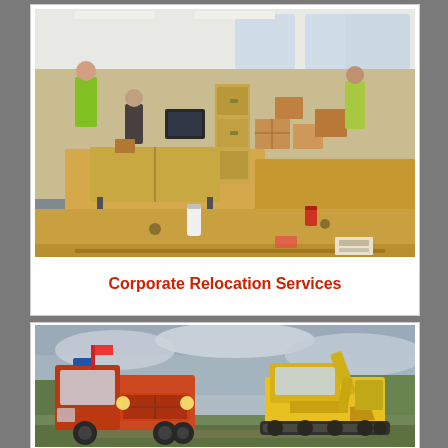[Figure (photo): Interior of an office space during relocation. Open plan office with wooden desks, cardboard boxes stacked on desks, workers in high-visibility vests moving items. Overhead fluorescent lighting, large windows in background.]
Corporate Relocation Services
[Figure (photo): Outdoor scene showing heavy construction/relocation equipment. An orange truck on the left and a yellow excavator/construction vehicle on the right. Overcast grey sky with trees in background.]